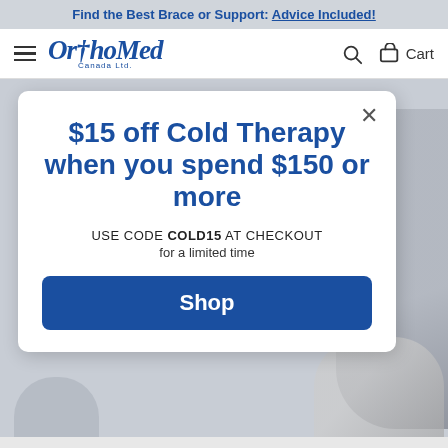Find the Best Brace or Support: Advice Included!
[Figure (logo): OrthoMed Canada Ltd. logo with caduceus symbol in blue italic font]
$15 off Cold Therapy when you spend $150 or more
USE CODE COLD15 AT CHECKOUT for a limited time
Shop